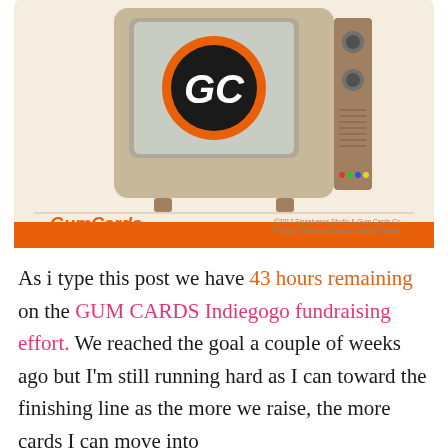[Figure (illustration): Retro vintage television set with 'GC' logo on screen inside an orange and black circle. Below the TV screen area is a card footer with 'Gum Cards' in orange script lettering and small copyright text on the right. The card has a warm beige/cream background with an orange bottom border stripe.]
As i type this post we have 43 hours remaining on the GUM CARDS Indiegogo fundraising effort. We reached the goal a couple of weeks ago but I'm still running hard as I can toward the finishing line as the more we raise, the more cards I can move into